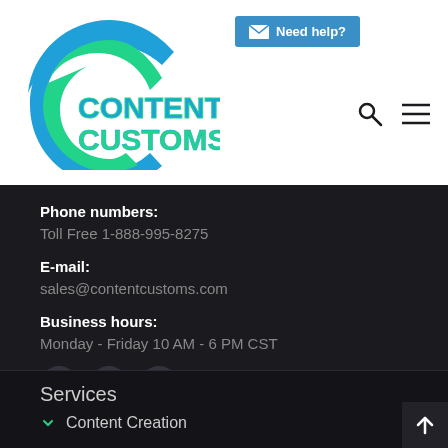[Figure (logo): Content Customs logo with circular blue and green wave design and bold blue/teal company name text]
[Figure (other): Blue 'Need help?' button with envelope icon]
[Figure (other): Search (magnifying glass) and hamburger menu icons in top right]
Phone numbers:
Toll Free 1-888-995-8275
E-mail:
sales@contentcustoms.com
Business hours:
Monday - Friday 10 AM - 6 PM CST
[Figure (other): Social media icons: Facebook, Twitter, LinkedIn - circular dark grey buttons]
Services
Content Creation